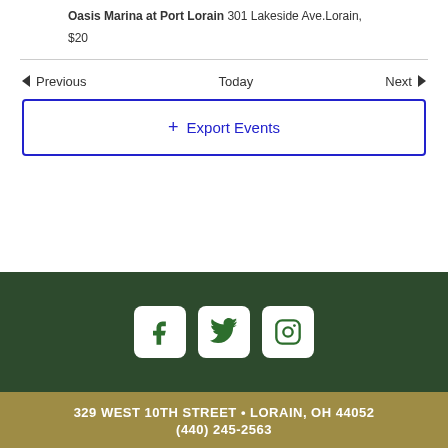Oasis Marina at Port Lorain 301 Lakeside Ave.Lorain,
$20
Previous   Today   Next
+ Export Events
[Figure (other): Social media icons: Facebook, Twitter, Instagram in white rounded square boxes on dark green background]
329 WEST 10TH STREET • LORAIN, OH 44052
(440) 245-2563